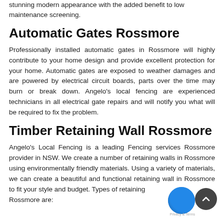stunning modern appearance with the added benefit to low maintenance screening.
Automatic Gates Rossmore
Professionally installed automatic gates in Rossmore will highly contribute to your home design and provide excellent protection for your home. Automatic gates are exposed to weather damages and are powered by electrical circuit boards, parts over the time may burn or break down. Angelo's local fencing are experienced technicians in all electrical gate repairs and will notify you what will be required to fix the problem.
Timber Retaining Wall Rossmore
Angelo's Local Fencing is a leading Fencing services Rossmore provider in NSW. We create a number of retaining walls in Rossmore using environmentally friendly materials. Using a variety of materials, we can create a beautiful and functional retaining wall in Rossmore to fit your style and budget. Types of retaining walls in Rossmore are: